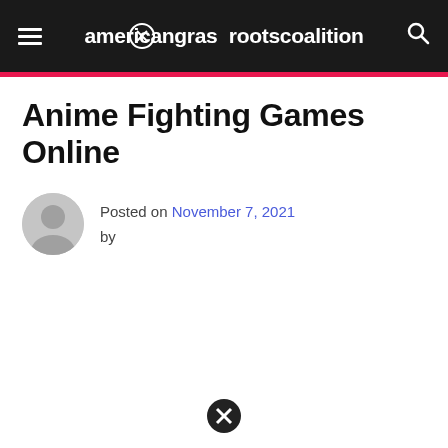americangrassrootscoalition
Anime Fighting Games Online
Posted on November 7, 2021 by